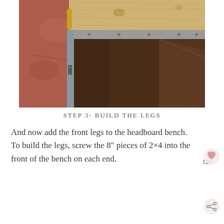[Figure (photo): Photograph showing the underside and interior of a wooden bench/headboard construction. Light pine wood top frame is visible with metal hardware and screws. Below is a dark brown plywood interior cavity. The background shows a red-brown concrete floor.]
STEP 3- BUILD THE LEGS
And now add the front legs to the headboard bench. To build the legs, screw the 8″ pieces of 2×4 into the front of the bench on each end.